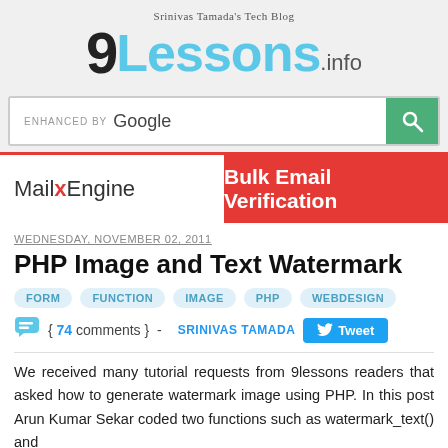[Figure (logo): 9Lessons.info logo with tagline 'Srinivas Tamada's Tech Blog']
[Figure (screenshot): Search bar with 'ENHANCED BY Google' text and green search button]
[Figure (infographic): MailxEngine ad banner with red section 'Bulk Email Verification']
WEDNESDAY, NOVEMBER 02, 2011
PHP Image and Text Watermark
FORM
FUNCTION
IMAGE
PHP
WEBDESIGN
{ 74 comments } - SRINIVAS TAMADA Tweet
We received many tutorial requests from 9lessons readers that asked how to generate watermark image using PHP. In this post Arun Kumar Sekar coded two functions such as watermark_text() and